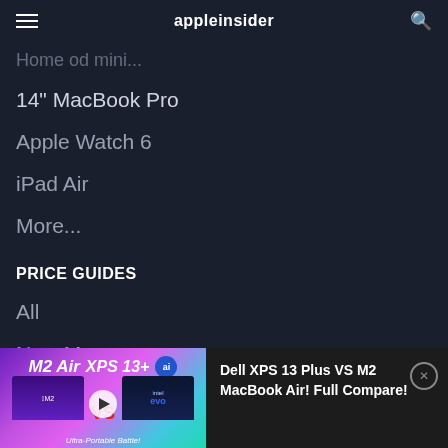appleinsider
Home od mini...
14" MacBook Pro
Apple Watch 6
iPad Air
More...
PRICE GUIDES
All
New Macs
[Figure (screenshot): Advertisement banner for a YouTube video comparing M2 Air vs XPS 13+ laptops with thumbnails of both laptops and a play button. Text reads 'Dell XPS 13 Plus VS M2 MacBook Air! Full Compare!' with a close button.]